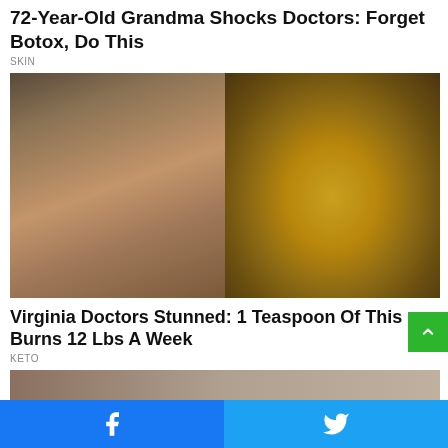72-Year-Old Grandma Shocks Doctors: Forget Botox, Do This
SKIN
[Figure (photo): Left: fit woman in pink sports bra showing toned abs. Right: wooden spoon with pile of yellowish-brown powder (spice or supplement)]
Virginia Doctors Stunned: 1 Teaspoon Of This Burns 12 Lbs A Week
KETO
[Figure (photo): Partially visible third article image at the bottom]
Facebook share button | Twitter share button